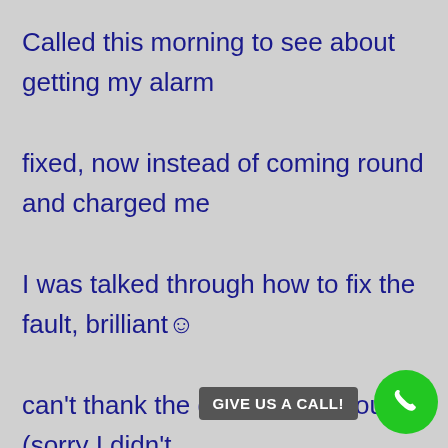Called this morning to see about getting my alarm fixed, now instead of coming round and charged me I was talked through how to fix the fault, brilliant☺ can't thank the gentleman enough (sorry I didn't catch your name)

I would say that he was able to talk me through a common fault on my system or
GIVE US A CALL!